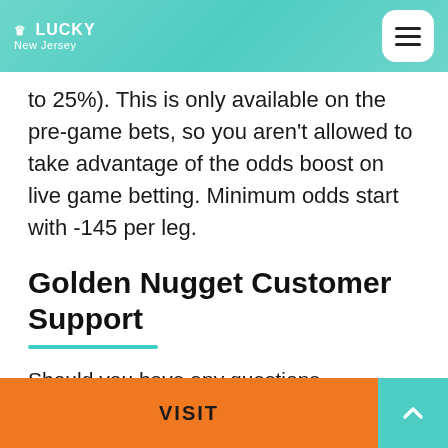LUCKY New Jersey
to 25%). This is only available on the pre-game bets, so you aren’t allowed to take advantage of the odds boost on live game betting. Minimum odds start with -145 per leg.
Golden Nugget Customer Support
Should you have any questions concerning placing the odds, promotions, your account, deposit, withdrawals, or literally – any questions concerning placing bets, the assigned team of customer service professionals is ready to answer them. You can reach them out by chatting online, sending an email
VISIT